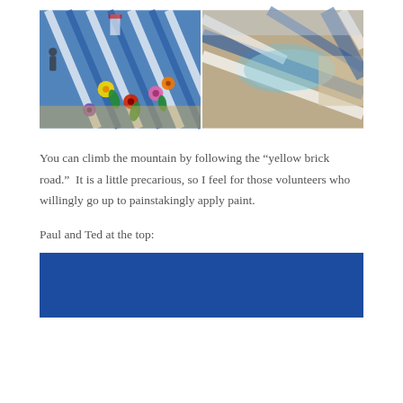[Figure (photo): Two side-by-side photos: left shows a colorful painted mountain surface with blue and white stripes and floral patterns; right shows an aerial view of the same painted mountain with blue and white stripes extending down rocky terrain near water.]
You can climb the mountain by following the “yellow brick road.”  It is a little precarious, so I feel for those volunteers who willingly go up to painstakingly apply paint.
Paul and Ted at the top:
[Figure (photo): Bottom portion of a photo showing a deep blue sky or background, likely the top of the painted mountain.]